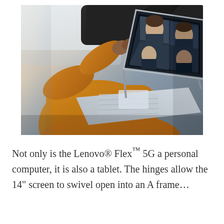[Figure (photo): A person wearing an orange/mustard outfit sitting in the backseat of a car, using a Lenovo laptop. The laptop screen shows a video conference with four participants. The scene is photographed from behind/above the user.]
Not only is the Lenovo® Flex™ 5G a personal computer, it is also a tablet. The hinges allow the 14" screen to swivel open into an A frame…